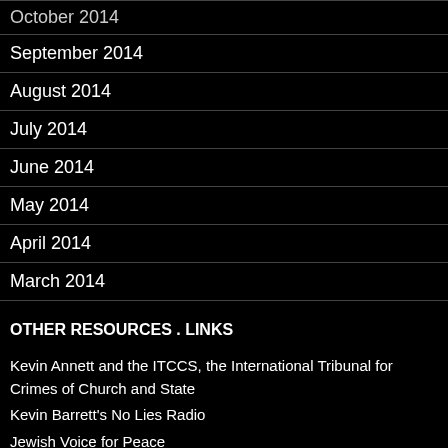October 2014
September 2014
August 2014
July 2014
June 2014
May 2014
April 2014
March 2014
OTHER RESOURCES . LINKS
Kevin Annett and the ITCCS, the International Tribunal for Crimes of Church and State
Kevin Barrett's No Lies Radio
Jewish Voice for Peace
Jews for Justice for Palestinians